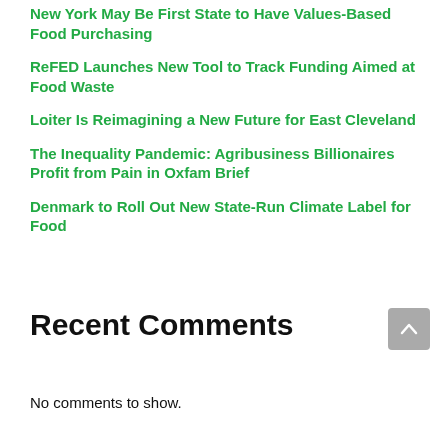New York May Be First State to Have Values-Based Food Purchasing
ReFED Launches New Tool to Track Funding Aimed at Food Waste
Loiter Is Reimagining a New Future for East Cleveland
The Inequality Pandemic: Agribusiness Billionaires Profit from Pain in Oxfam Brief
Denmark to Roll Out New State-Run Climate Label for Food
Recent Comments
No comments to show.